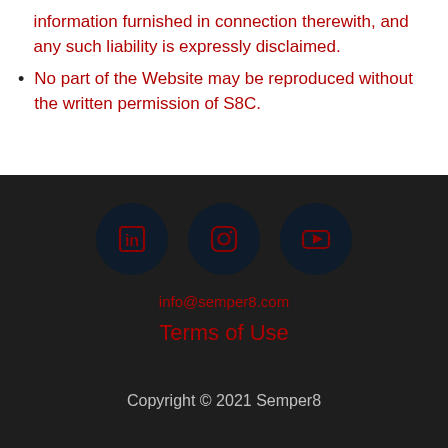information furnished in connection therewith, and any such liability is expressly disclaimed.
No part of the Website may be reproduced without the written permission of S8C.
[Figure (illustration): Three social media icons in dark navy circles: LinkedIn (in), Instagram (camera icon), YouTube (play button). Icons are dark red on dark navy circular backgrounds.]
info@semper8.com
Terms of Use
Copyright © 2021 Semper8